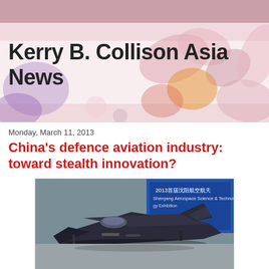Kerry B. Collison Asia News
Monday, March 11, 2013
China's defence aviation industry: toward stealth innovation?
[Figure (photo): A model of a Chinese stealth fighter jet on display at the 2013 Shenyang Aerospace Exhibition, with a blue banner in the background showing Chinese text and '2013首届沈阳航空航天...']